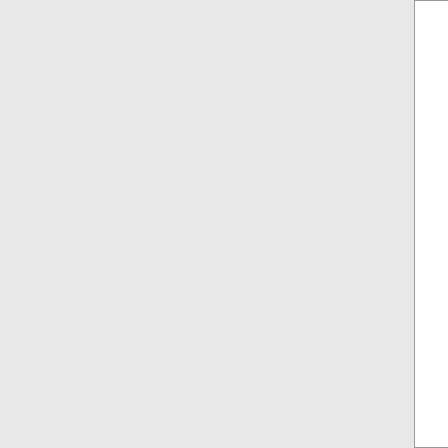| Phone | State | Name | Number | Code |
| --- | --- | --- | --- | --- |
| 914-233-0 | NY | MCIMETRO ACCESS TRANSMISSIONS (Verizon Communications) | 7133 | WSC |